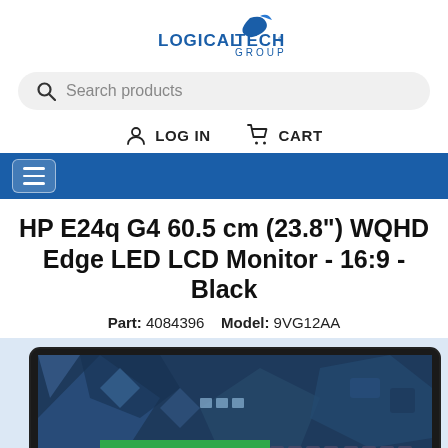[Figure (logo): LogicalTech Group logo with blue swoosh and text]
[Figure (screenshot): Search bar with magnifying glass icon and placeholder text 'Search products']
LOG IN   CART
[Figure (screenshot): Blue navigation bar with hamburger menu button]
HP E24q G4 60.5 cm (23.8") WQHD Edge LED LCD Monitor - 16:9 - Black
Part: 4084396   Model: 9VG12AA
[Figure (photo): HP E24q G4 monitor showing a screen with blue geometric design and 'FOLLOWING' text]